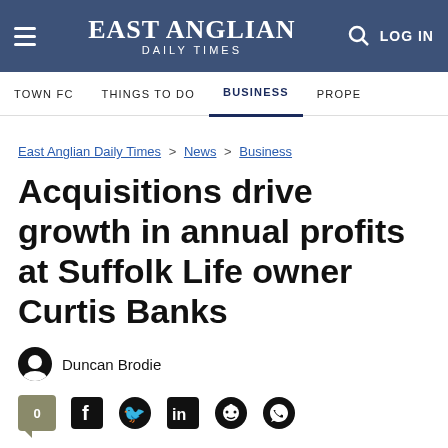EAST ANGLIAN DAILY TIMES
TOWN FC  THINGS TO DO  BUSINESS  PROPE
East Anglian Daily Times > News > Business
Acquisitions drive growth in annual profits at Suffolk Life owner Curtis Banks
Duncan Brodie